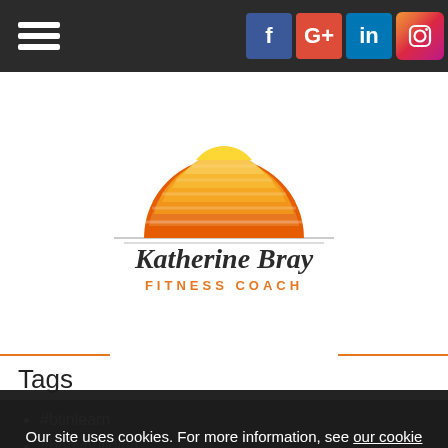Navigation header with hamburger menu and social icons: Facebook, Google+, LinkedIn, Instagram
[Figure (logo): Katherine Bray Fitness Coach logo — sunrise/sunset semicircle in orange and yellow over horizontal lines, with cursive 'Katherine Bray' text and 'FITNESS COACH' in orange capitals below]
Tags
#btinlearn
#bodybuilding
#fitnessmodel
#growth
#healthyeating #weightloss #losegroat
#mindset
#positive
#selfmane
Our site uses cookies. For more information, see our cookie policy.
Accept cookies and close
Reject cookies
Manage settings